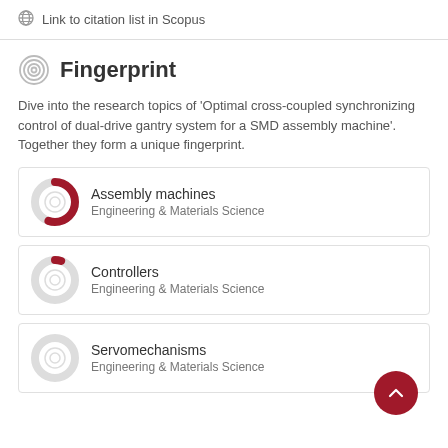Link to citation list in Scopus
Fingerprint
Dive into the research topics of 'Optimal cross-coupled synchronizing control of dual-drive gantry system for a SMD assembly machine'. Together they form a unique fingerprint.
Assembly machines
Engineering & Materials Science
Controllers
Engineering & Materials Science
Servomechanisms
Engineering & Materials Science